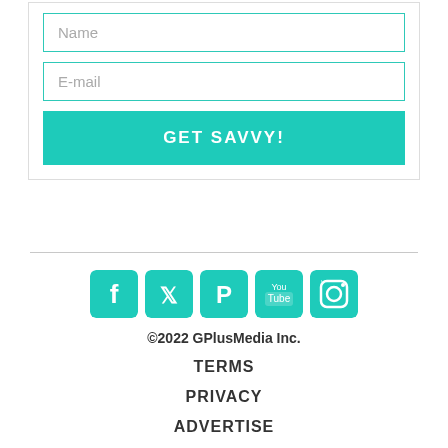[Figure (screenshot): Form with Name and E-mail input fields and a teal GET SAVVY! button]
[Figure (infographic): Row of 5 teal social media icons: Facebook, Twitter, Pinterest, YouTube, Instagram]
©2022 GPlusMedia Inc.
TERMS
PRIVACY
ADVERTISE